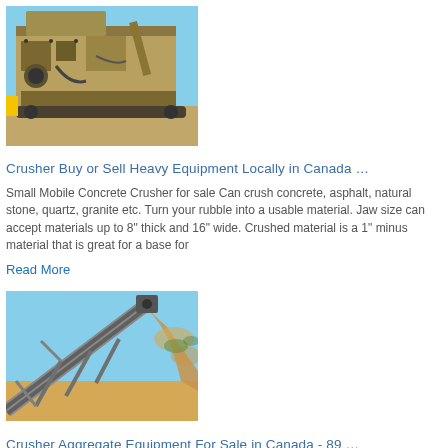[Figure (photo): Large yellow industrial rock crusher machine photographed outdoors against a blue sky background]
Crusher Buy or Sell Heavy Equipment Locally in Canada …
Small Mobile Concrete Crusher for sale Can crush concrete, asphalt, natural stone, quartz, granite etc. Turn your rubble into a usable material. Jaw size can accept materials up to 8" thick and 16" wide. Crushed material is a 1" minus material that is great for a base for
Read More
[Figure (photo): Industrial conveyor belt system at a quarry or aggregate site, photographed from below against a blue sky, with material falling off the belt]
Crusher Aggregate Equipment For Sale in Canada - 89 …